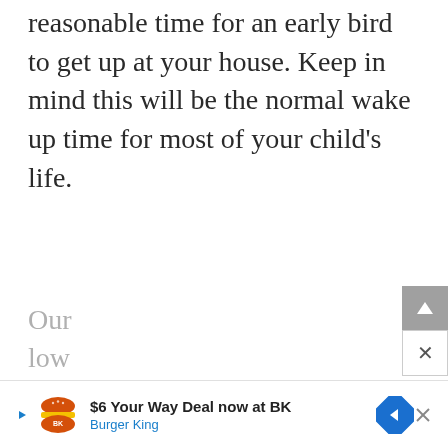reasonable time for an early bird to get up at your house. Keep in mind this will be the normal wake up time for most of your child's life.
Our... low... 0
[Figure (screenshot): Burger King advertisement banner showing logo, '$6 Your Way Deal now at BK', 'Burger King' subtitle, navigation arrow icon, play button, and close (X) button]